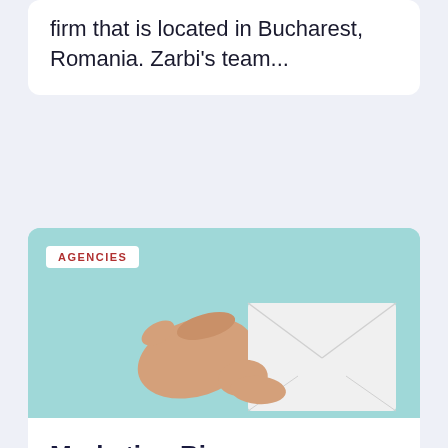firm that is located in Bucharest, Romania. Zarbi's team...
[Figure (photo): Hand holding a white envelope against a light teal/mint background, with an 'AGENCIES' badge overlay in the top-left corner]
Marketing Binge
Marketing Binge is an agency that is aimed at helping brands achieve effective communication through...